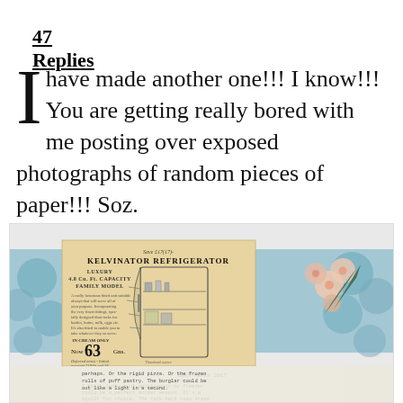47 Replies
I have made another one!!! I know!!! You are getting really bored with me posting over exposed photographs of random pieces of paper!!! Soz.
[Figure (photo): A photograph showing a vintage Kelvinator Refrigerator advertisement clipping placed on a floral patterned blue background, alongside a handwritten or typewritten letter dated 25th March 2017 mentioning a freezer as a murder weapon.]